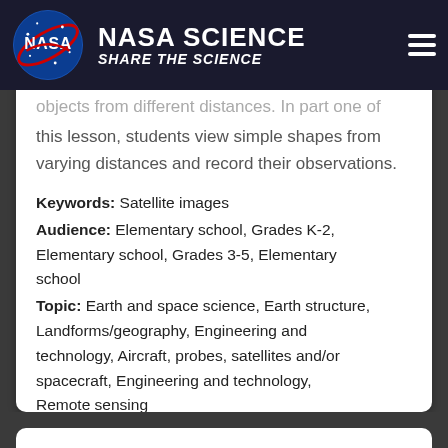NASA SCIENCE | SHARE THE SCIENCE
...effects that result when viewing objects from different distances. In part one of this lesson, students view simple shapes from varying distances and record their observations.
Keywords: Satellite images
Audience: Elementary school, Grades K-2, Elementary school, Grades 3-5, Elementary school
Topic: Earth and space science, Earth structure, Landforms/geography, Engineering and technology, Aircraft, probes, satellites and/or spacecraft, Engineering and technology, Remote sensing
Materials Cost: 1 cent - $1
Go To Resource